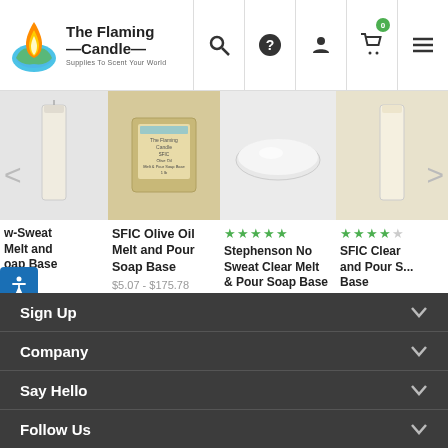[Figure (screenshot): The Flaming Candle logo with flame icon and tagline 'Supplies To Scent Your World']
[Figure (screenshot): E-commerce product carousel showing soap base products: partial 'Low-Sweat Melt and Soap Base', 'SFIC Olive Oil Melt and Pour Soap Base $5.07-$175.78', 'Stephenson No Sweat Clear Melt & Pour Soap Base $74.19-$289.59' (5 stars), 'SFIC Clear and Pour S... Base $4.44-$13...' (4.5 stars). Left and right navigation arrows visible.]
Sign Up
Company
Say Hello
Follow Us